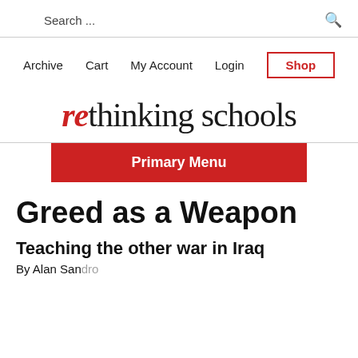Search ...
Archive  Cart  My Account  Login  Shop
rethinking schools
Primary Menu
Greed as a Weapon
Teaching the other war in Iraq
By Alan Sandro